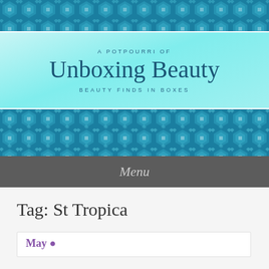[Figure (illustration): Teal decorative geometric pattern strip at the top of the page with hexagons, squares, and diamond shapes in various shades of blue and teal]
A POTPOURRI OF
Unboxing Beauty
BEAUTY FINDS IN BOXES
[Figure (illustration): Teal decorative geometric pattern strip below the header banner with hexagons, squares, and diamond shapes in various shades of blue and teal]
Menu
Tag: St Tropica
[Figure (screenshot): Partial view of a blog post preview card with purple title text, cut off at bottom of page]